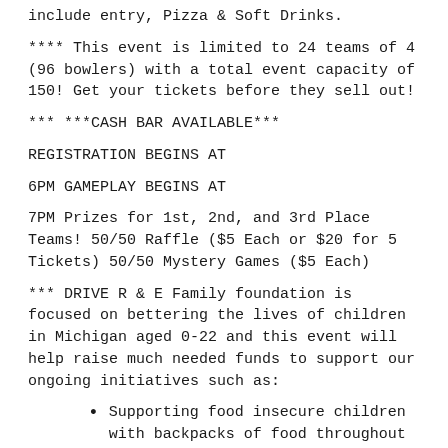include entry, Pizza & Soft Drinks.
**** This event is limited to 24 teams of 4 (96 bowlers) with a total event capacity of 150! Get your tickets before they sell out!
*** ***CASH BAR AVAILABLE***
REGISTRATION BEGINS AT
6PM GAMEPLAY BEGINS AT
7PM Prizes for 1st, 2nd, and 3rd Place Teams! 50/50 Raffle ($5 Each or $20 for 5 Tickets) 50/50 Mystery Games ($5 Each)
*** DRIVE R & E Family foundation is focused on bettering the lives of children in Michigan aged 0-22 and this event will help raise much needed funds to support our ongoing initiatives such as:
Supporting food insecure children with backpacks of food throughout the school year.